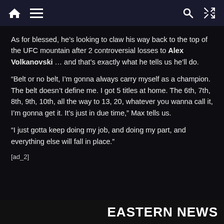Navigation bar with home, menu, search, and shuffle icons
As for blessed, he’s looking to claw his way back to the top of the UFC mountain after 2 controversial losses to Alex Volkanovski … and that’s exactly what he tells us he’ll do.
“Belt or no belt, I’m gonna always carry myself as a champion. The belt doesn’t define me. I got 5 titles at home. The 6th, 7th, 8th, 9th, 10th, all the way to 13, 20, whatever you wanna call it, I’m gonna get it. It’s just in due time,” Max tells us.
“I just gotta keep doing my job, and doing my part, and everything else will fall in place.”
[ad_2]
EASTERN NEWS